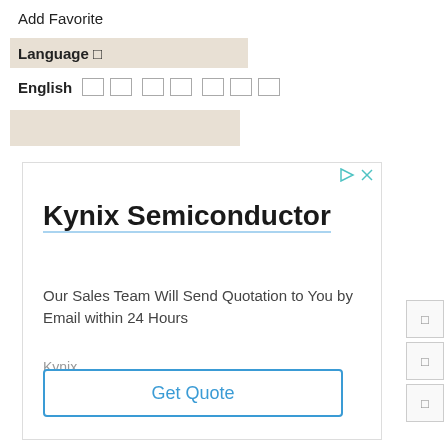Add Favorite
Language □
English □□ □□ □□□
[Figure (screenshot): Advertisement for Kynix Semiconductor with title, description, brand name, and Get Quote button]
□
□
□